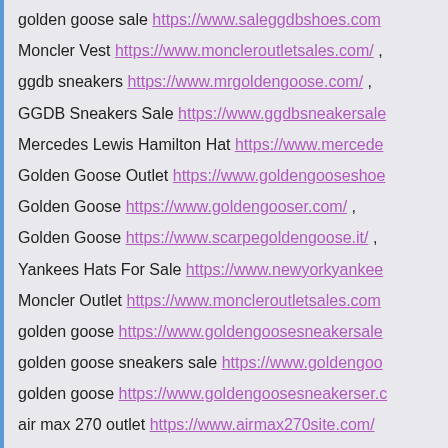golden goose sale https://www.saleggdbshoes.com
Moncler Vest https://www.moncleroutletsales.com/ ,
ggdb sneakers https://www.mrgoldengoose.com/ ,
GGDB Sneakers Sale https://www.ggdbsneakersale...
Mercedes Lewis Hamilton Hat https://www.mercede...
Golden Goose Outlet https://www.goldengooseshoe...
Golden Goose https://www.goldengooser.com/ ,
Golden Goose https://www.scarpegoldengoose.it/ ,
Yankees Hats For Sale https://www.newyorkyankee...
Moncler Outlet https://www.moncleroutletsales.com...
golden goose https://www.goldengoosesneakersale...
golden goose sneakers sale https://www.goldengoo...
golden goose https://www.goldengoosesneakerser.c...
air max 270 outlet https://www.airmax270site.com/